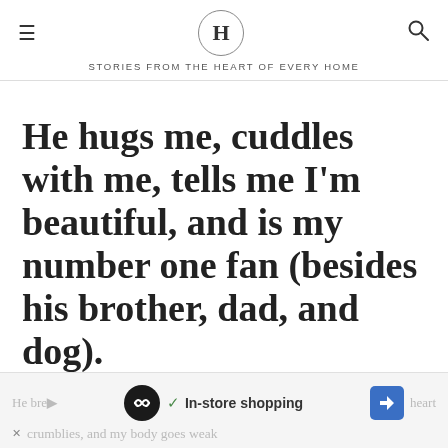H — STORIES FROM THE HEART OF EVERY HOME
He hugs me, cuddles with me, tells me I'm beautiful, and is my number one fan (besides his brother, dad, and dog).
However, he also says some extremely terrifying things about himself and our family.
He bre... heart crumblies, and my body goes weak